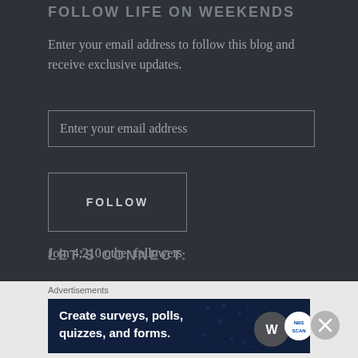FOLLOW LIFE ON WEEKENDS
Enter your email address to follow this blog and receive exclusive updates.
Enter your email address
FOLLOW
Join 4,210 other followers
LET'S CONNECT:
Advertisements
[Figure (other): Advertisement banner for WordPress surveys/polls/quizzes/forms with WordPress and NBS Scan logos]